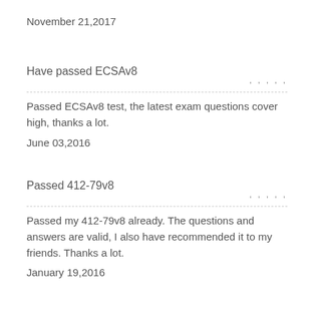November 21,2017
Have passed ECSAv8
Passed ECSAv8 test, the latest exam questions cover high, thanks a lot.
June 03,2016
Passed 412-79v8
Passed my 412-79v8 already. The questions and answers are valid, I also have recommended it to my friends. Thanks a lot.
January 19,2016